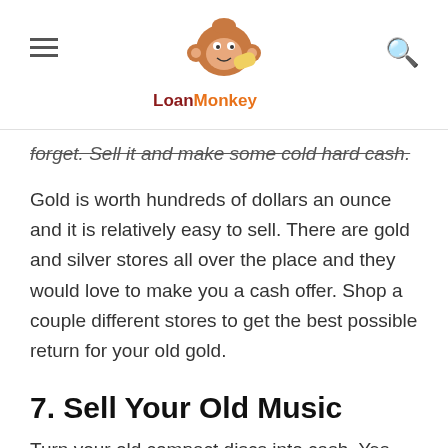LoanMonkey
forget. Sell it and make some cold hard cash.
Gold is worth hundreds of dollars an ounce and it is relatively easy to sell. There are gold and silver stores all over the place and they would love to make you a cash offer. Shop a couple different stores to get the best possible return for your old gold.
7. Sell Your Old Music
Turn your old compact discs into cash. Yes,